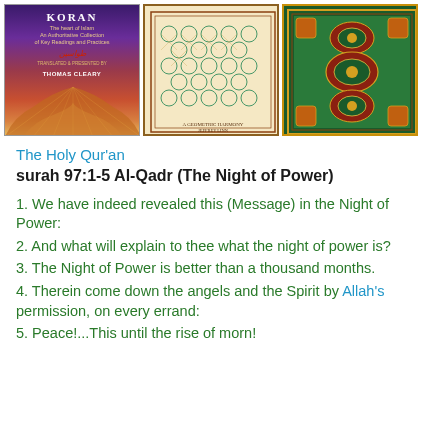[Figure (photo): Three book/tile cover images side by side: a Quran book cover by Thomas Cleary, a geometric Islamic pattern cover, and a decorative carpet/rug pattern]
The Holy Qur'an
surah 97:1-5 Al-Qadr (The Night of Power)
1. We have indeed revealed this (Message) in the Night of Power:
2. And what will explain to thee what the night of power is?
3. The Night of Power is better than a thousand months.
4. Therein come down the angels and the Spirit by Allah's permission, on every errand:
5. Peace!...This until the rise of morn!